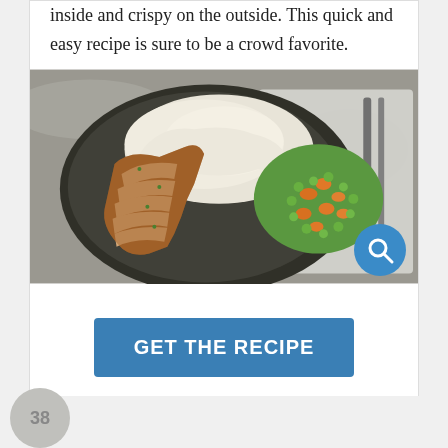inside and crispy on the outside. This quick and easy recipe is sure to be a crowd favorite.
[Figure (photo): Overhead shot of a dark plate with sliced breaded chicken cutlets, mashed potatoes, and a mix of peas and diced carrots/sweet potatoes, on a gray stone surface with a knife and fork beside the plate. A blue magnifying glass search icon is visible in the lower right corner of the image.]
GET THE RECIPE